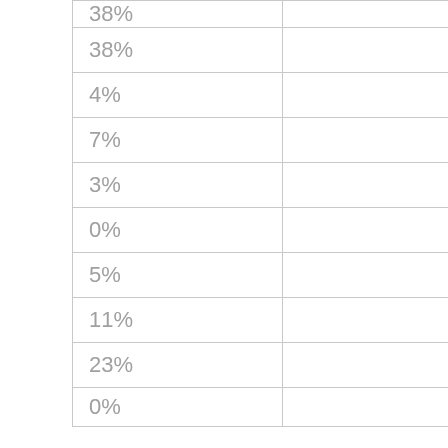| 38% |  |
| 4% |  |
| 7% |  |
| 3% |  |
| 0% |  |
| 5% |  |
| 11% |  |
| 23% |  |
| 0% |  |